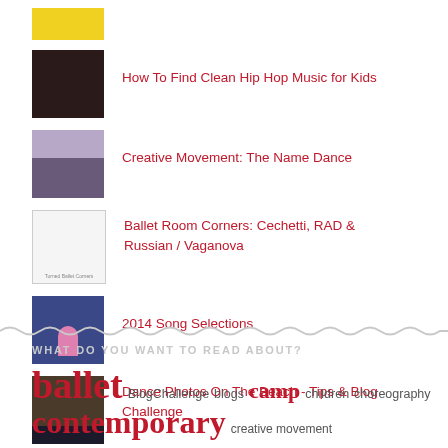How To Find Clean Hip Hop Music for Kids
Creative Movement: The Name Dance
Ballet Room Corners: Cechetti, RAD & Russian / Vaganova
2014 Song Selections
Dance Photos On The Beach - Tips & Blog Challenge
WHAT DO YOU WANT TO READ ABOUT?
ballet BlogChallenge blogs camp children choreography contemporary creative movement dance dance